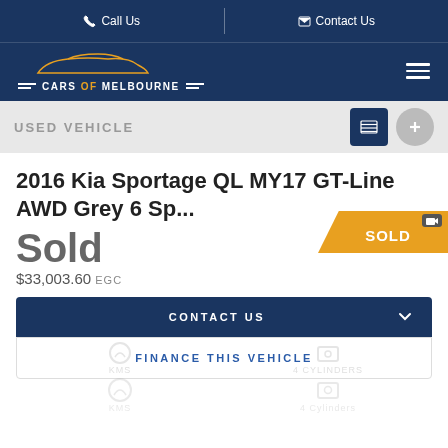Call Us | Contact Us
[Figure (logo): Cars of Melbourne logo with orange car silhouette and white text]
USED VEHICLE
2016 Kia Sportage QL MY17 GT-Line AWD Grey 6 Sp...
[Figure (other): Orange SOLD badge in top right corner]
Sold
$33,003.60 EGC
CONTACT US
FINANCE THIS VEHICLE